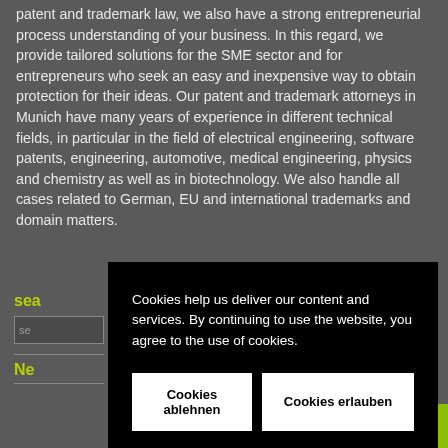patent and trademark law, we also have a strong entrepreneurial process understanding of your business. In this regard, we provide tailored solutions for the SME sector and for entrepreneurs who seek an easy and inexpensive way to obtain protection for their ideas. Our patent and trademark attorneys in Munich have many years of experience in different technical fields, in particular in the field of electrical engineering, software patents, engineering, automotive, medical engineering, physics and chemistry as well as in biotechnology. We also handle all cases related to German, EU and international trademarks and domain matters.
sea
se
Ne
[Figure (screenshot): Cookie consent overlay dialog on a dark background. Contains text 'Cookies help us deliver our content and services. By continuing to use the website, you agree to the use of cookies.' with two buttons: 'Cookies ablehnen' and 'Cookies erlauben']